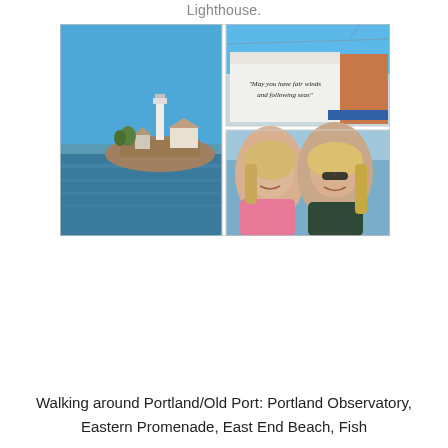Lighthouse.
[Figure (photo): Three-photo collage: left photo shows a lighthouse on rocky coastline with blue sky and water; top right shows a building with painted quote 'May you have fair winds and following seas'; bottom right shows two smiling women taking a selfie on the water.]
Walking around Portland/Old Port: Portland Observatory, Eastern Promenade, East End Beach, Fish